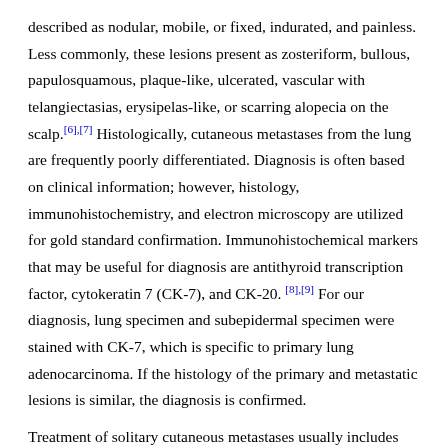described as nodular, mobile, or fixed, indurated, and painless. Less commonly, these lesions present as zosteriform, bullous, papulosquamous, plaque-like, ulcerated, vascular with telangiectasias, erysipelas-like, or scarring alopecia on the scalp.[6],[7] Histologically, cutaneous metastases from the lung are frequently poorly differentiated. Diagnosis is often based on clinical information; however, histology, immunohistochemistry, and electron microscopy are utilized for gold standard confirmation. Immunohistochemical markers that may be useful for diagnosis are antithyroid transcription factor, cytokeratin 7 (CK-7), and CK-20. [8],[9] For our diagnosis, lung specimen and subepidermal specimen were stained with CK-7, which is specific to primary lung adenocarcinoma. If the histology of the primary and metastatic lesions is similar, the diagnosis is confirmed.
Treatment of solitary cutaneous metastases usually includes surgical resection combined with adjunct chemotherapy.[9] Other treatments include radiotherapy, cryotherapy, laser, or radiofrequency ablation or interferon alpha injections.[10] Usually, cutaneous metastases indicate a progression of the malignancy and poor prognosis.[5] Other poor prognostic indicators include small-cell primary lung tumors (nonresectable), multiple metastatic cutaneous lesions, or other distant